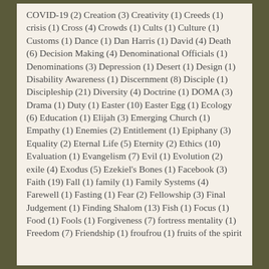COVID-19 (2) Creation (3) Creativity (1) Creeds (1) crisis (1) Cross (4) Crowds (1) Cults (1) Culture (1) Customs (1) Dance (1) Dan Harris (1) David (4) Death (6) Decision Making (4) Denominational Officials (1) Denominations (3) Depression (1) Desert (1) Design (1) Disability Awareness (1) Discernment (8) Disciple (1) Discipleship (21) Diversity (4) Doctrine (1) DOMA (3) Drama (1) Duty (1) Easter (10) Easter Egg (1) Ecology (6) Education (1) Elijah (3) Emerging Church (1) Empathy (1) Enemies (2) Entitlement (1) Epiphany (3) Equality (2) Eternal Life (5) Eternity (2) Ethics (10) Evaluation (1) Evangelism (7) Evil (1) Evolution (2) exile (4) Exodus (5) Ezekiel's Bones (1) Facebook (3) Faith (19) Fall (1) family (1) Family Systems (4) Farewell (1) Fasting (1) Fear (2) Fellowship (3) Final Judgement (1) Finding Shalom (13) Fish (1) Focus (1) Food (1) Fools (1) Forgiveness (7) fortress mentality (1) Freedom (7) Friendship (1) froufrou (1) fruits of the spirit